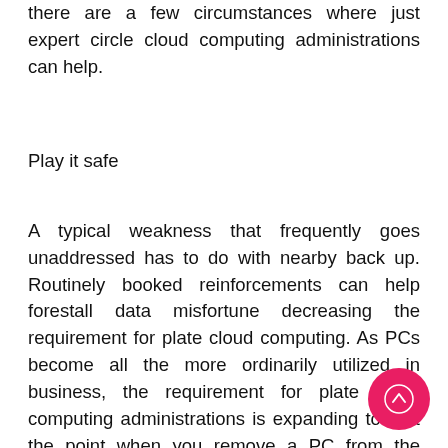there are a few circumstances where just expert circle cloud computing administrations can help.
Play it safe
A typical weakness that frequently goes unaddressed has to do with nearby back up. Routinely booked reinforcements can help forestall data misfortune decreasing the requirement for plate cloud computing. As PCs become all the more ordinarily utilized in business, the requirement for plate cloud computing administrations is expanding too. At the point when you remove a PC from the organization server, it can turn into a except if certain data the executive's measures are taken.